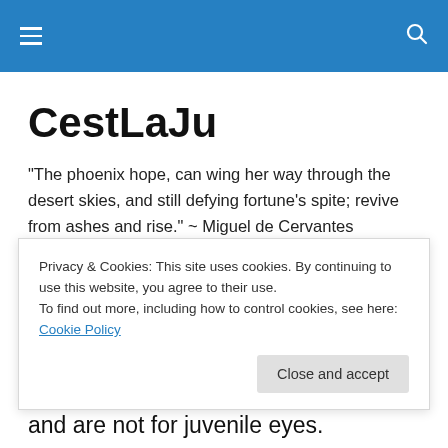CestLaJu - navigation bar
CestLaJu
"The phoenix hope, can wing her way through the desert skies, and still defying fortune's spite; revive from ashes and rise." ~ Miguel de Cervantes
TAGGED WITH PUBLIC TRANSPORTATION
Lima: Museo Larco and The
Privacy & Cookies: This site uses cookies. By continuing to use this website, you agree to their use.
To find out more, including how to control cookies, see here: Cookie Policy
and are not for juvenile eyes.